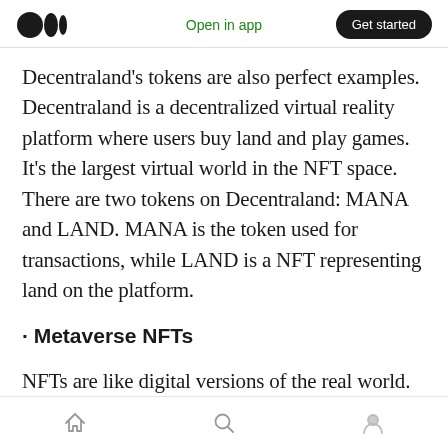Open in app | Get started
Decentraland's tokens are also perfect examples. Decentraland is a decentralized virtual reality platform where users buy land and play games. It's the largest virtual world in the NFT space. There are two tokens on Decentraland: MANA and LAND. MANA is the token used for transactions, while LAND is a NFT representing land on the platform.
· Metaverse NFTs
NFTs are like digital versions of the real world. They digitally represent anything from unique art,
home | search | profile